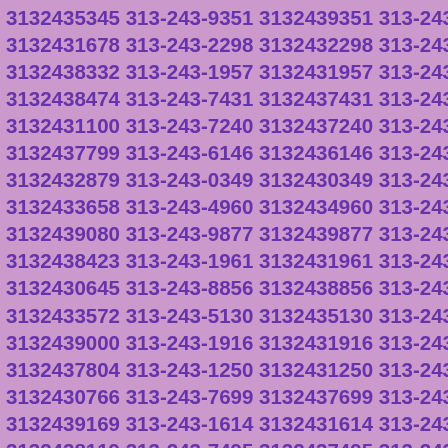3132435345 313-243-9351 3132439351 313-243-1678 3132431678 313-243-2298 3132432298 313-243-8332 3132438332 313-243-1957 3132431957 313-243-8474 3132438474 313-243-7431 3132437431 313-243-1100 3132431100 313-243-7240 3132437240 313-243-7799 3132437799 313-243-6146 3132436146 313-243-2879 3132432879 313-243-0349 3132430349 313-243-3658 3132433658 313-243-4960 3132434960 313-243-9080 3132439080 313-243-9877 3132439877 313-243-8423 3132438423 313-243-1961 3132431961 313-243-0645 3132430645 313-243-8856 3132438856 313-243-3572 3132433572 313-243-5130 3132435130 313-243-9000 3132439000 313-243-1916 3132431916 313-243-7804 3132437804 313-243-1250 3132431250 313-243-0766 3132430766 313-243-7699 3132437699 313-243-9169 3132439169 313-243-1614 3132431614 313-243-8119 3132438119 313-243-7495 3132437495 313-243-3301 3132433301 313-243-4608 3132434608 313-243-5917 3132435917 313-243-4796 3132434796 313-243-0878 3132430878 313-243-2746 3132432746 313-243-2393 3132432393 313-243-1632 3132431632 313-243-2272